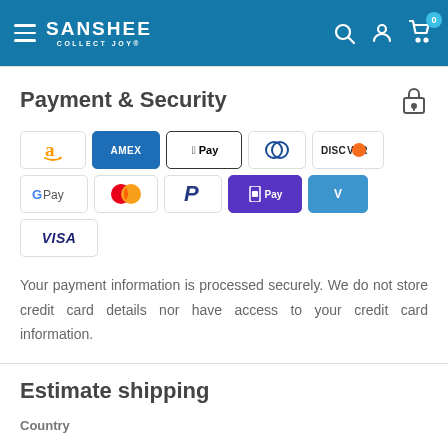SANSHEE COLLECT JOY
Payment & Security
[Figure (infographic): Payment method icons: Amazon, American Express, Apple Pay, Diners Club, Discover, Google Pay, Mastercard, PayPal, Shop Pay, Venmo, Visa]
Your payment information is processed securely. We do not store credit card details nor have access to your credit card information.
Estimate shipping
Country